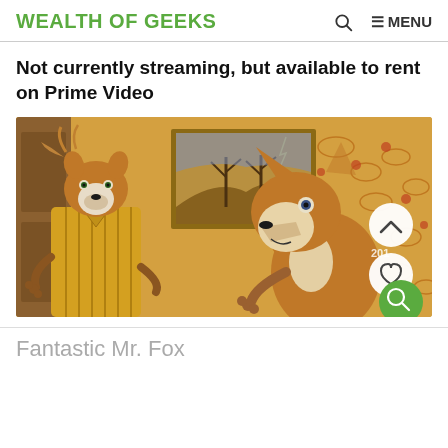WEALTH OF GEEKS  🔍  ≡ MENU
Not currently streaming, but available to rent on Prime Video
[Figure (photo): Still from Fantastic Mr. Fox animated film showing two anthropomorphic fox characters in a room with floral wallpaper and a landscape painting. Left character wears a yellow striped suit, right character is a fox facing left. UI overlay buttons (chevron up, heart, search) on right side.]
Fantastic Mr. Fox